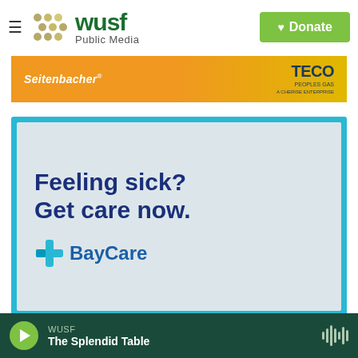[Figure (logo): WUSF Public Media logo with hamburger menu and green Donate button]
[Figure (screenshot): Sponsor banner with Seitenbacher and TECO Peoples Gas logos on orange/yellow gradient background]
[Figure (screenshot): BayCare advertisement with cyan border. Text: Feeling sick? Get care now. BayCare logo.]
[Figure (screenshot): Audio player bar showing WUSF and The Splendid Table with play button and waveform icon]